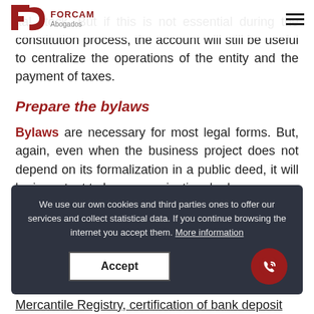FORCAM Abogados
capital stock. But if this is not essential during the constitution process, the account will still be useful to centralize the operations of the entity and the payment of taxes.
Prepare the bylaws
Bylaws are necessary for most legal forms. But, again, even when the business project does not depend on its formalization in a public deed, it will be important to have organizational rules.
We use our own cookies and third parties ones to offer our services and collect statistical data. If you continue browsing the internet you accept them. More information
Accept
Mercantile Registry, certification of bank deposit